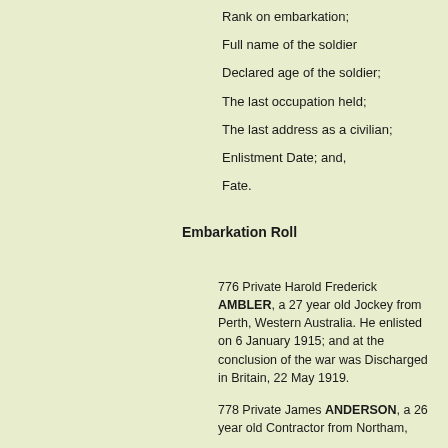Rank on embarkation;
Full name of the soldier
Declared age of the soldier;
The last occupation held;
The last address as a civilian;
Enlistment Date; and,
Fate.
Embarkation Roll
776 Private Harold Frederick AMBLER, a 27 year old Jockey from Perth, Western Australia. He enlisted on 6 January 1915; and at the conclusion of the war was Discharged in Britain, 22 May 1919.
778 Private James ANDERSON, a 26 year old Contractor from Northam,